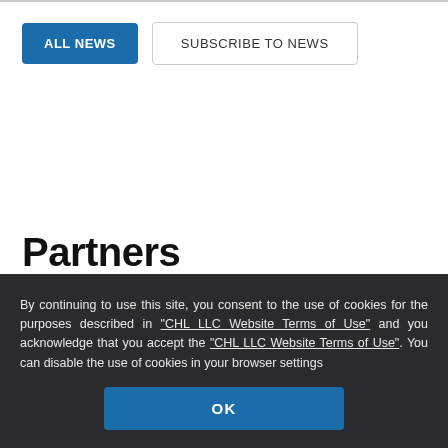ALL NEWS | SUBSCRIBE TO NEWS (buttons)
Partners
[Figure (logo): Two partially visible partner logos in gray at bottom of page]
By continuing to use this site, you consent to the use of cookies for the purposes described in "CHL LLC Website Terms of Use" and you acknowledge that you accept the "CHL LLC Website Terms of Use". You can disable the use of cookies in your browser settings
OK